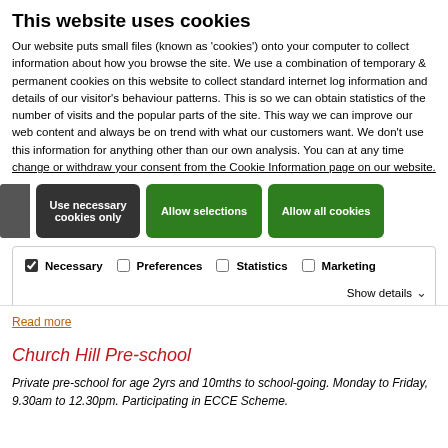This website uses cookies
Our website puts small files (known as 'cookies') onto your computer to collect information about how you browse the site. We use a combination of temporary & permanent cookies on this website to collect standard internet log information and details of our visitor's behaviour patterns. This is so we can obtain statistics of the number of visits and the popular parts of the site. This way we can improve our web content and always be on trend with what our customers want. We don't use this information for anything other than our own analysis. You can at any time change or withdraw your consent from the Cookie Information page on our website.
Read more
Church Hill Pre-school
Private pre-school for age 2yrs and 10mths to school-going. Monday to Friday, 9.30am to 12.30pm. Participating in ECCE Scheme.